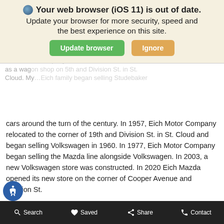[Figure (screenshot): Browser out-of-date alert banner with globe icon, bold title 'Your web browser (iOS 11) is out of date.', subtitle 'Update your browser for more security, speed and the best experience on this site.', and two buttons: green 'Update browser' and tan 'Ignore'.]
cars around the turn of the century. In 1957, Eich Motor Company relocated to the corner of 19th and Division St. in St. Cloud and began selling Volkswagen in 1960. In 1977, Eich Motor Company began selling the Mazda line alongside Volkswagen. In 2003, a new Volkswagen store was constructed. In 2020 Eich Mazda opened its new store on the corner of Cooper Avenue and Division St.
Dealer Info
| Phone Numbers: |  |
| --- | --- |
| Main: | (855) 500-1725 |
| Sales: | (855) 500-1725 |
| Service: | (855) 500-1725 |
Search   Saved   Share   Contact